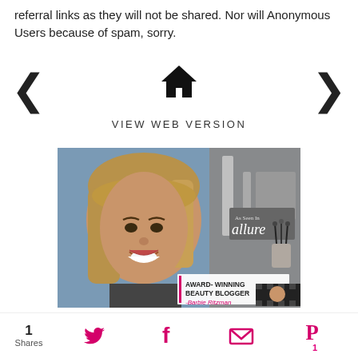referral links as they will not be shared. Nor will Anonymous Users because of spam, sorry.
[Figure (other): Navigation row with left chevron, home icon, and right chevron]
VIEW WEB VERSION
[Figure (photo): Photo of a woman (award-winning beauty blogger Barbie Ritzman) with text overlays: 'As Seen In allure' and 'AWARD-WINNING BEAUTY BLOGGER -Barbie Ritzman']
1 Shares
[Figure (other): Social share icons: Twitter, Facebook, Email, Pinterest (with count 1)]